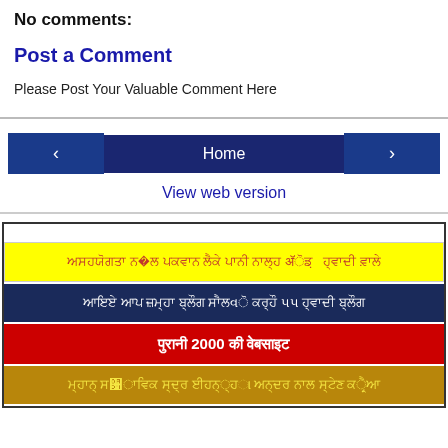No comments:
Post a Comment
Please Post Your Valuable Comment Here
‹  Home  ›
View web version
[Figure (screenshot): Colored banner strips with text in Hindi/regional script: yellow strip, navy strip, red strip with '2000', gold strip]
[Yellow strip - Hindi text]
[Navy strip - Hindi text]
[Red strip - Hindi text with 2000]
[Gold strip - Hindi text]